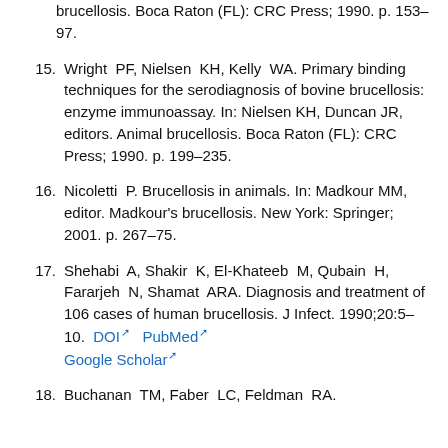(continuation) brucellosis. Boca Raton (FL): CRC Press; 1990. p. 153–97.
15. Wright PF, Nielsen KH, Kelly WA. Primary binding techniques for the serodiagnosis of bovine brucellosis: enzyme immunoassay. In: Nielsen KH, Duncan JR, editors. Animal brucellosis. Boca Raton (FL): CRC Press; 1990. p. 199–235.
16. Nicoletti P. Brucellosis in animals. In: Madkour MM, editor. Madkour's brucellosis. New York: Springer; 2001. p. 267–75.
17. Shehabi A, Shakir K, El-Khateeb M, Qubain H, Fararjeh N, Shamat ARA. Diagnosis and treatment of 106 cases of human brucellosis. J Infect. 1990;20:5–10. DOI PubMed Google Scholar
18. Buchanan TM, Faber LC, Feldman RA.